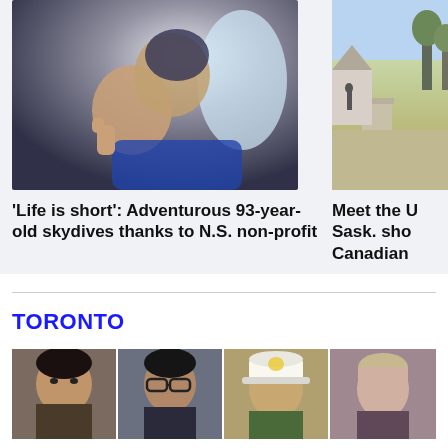[Figure (photo): Elderly woman giving thumbs up while skydiving tandem with instructor in blue jumpsuit, inside plane door]
[Figure (photo): Outdoor scene showing a pathway and suburban/park area with trees and houses in background]
'Life is short': Adventurous 93-year-old skydives thanks to N.S. non-profit
Meet the U Sask. sho Canadian
TORONTO
[Figure (photo): Row of four face portraits: young man with dark hair, person with dark hair and glasses, man with Bass Pro Shops cap, person with light hair]